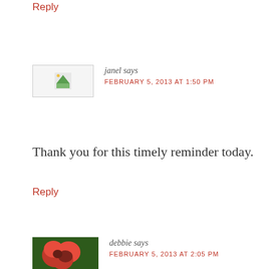Reply
janel says
FEBRUARY 5, 2013 AT 1:50 PM
Thank you for this timely reminder today.
Reply
debbie says
FEBRUARY 5, 2013 AT 2:05 PM